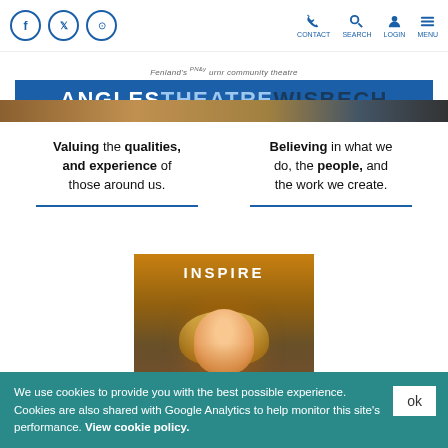Angles Theatre Wisbech — Navigation bar with social icons (Facebook, Twitter, Instagram) and nav items (CONTACT, SEARCH, LOGIN, MENU)
[Figure (logo): Angles Theatre Wisbech logo banner on blue background with tagline 'Fenland's [only] true community theatre']
Valuing the qualities, and experience of those around us.
Believing in what we do, the people, and the work we create.
[Figure (photo): INSPIRE section card with photo of woman with blonde hair looking upward on warm amber/teal background]
We use cookies to provide you with the best possible experience. Cookies are also shared with Google Analytics to help monitor this site's performance. View cookie policy.